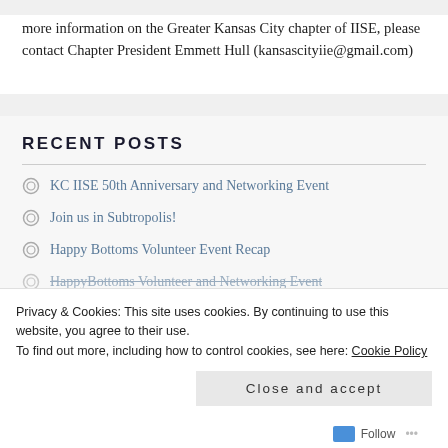more information on the Greater Kansas City chapter of IISE, please contact Chapter President Emmett Hull (kansascityiie@gmail.com)
RECENT POSTS
KC IISE 50th Anniversary and Networking Event
Join us in Subtropolis!
Happy Bottoms Volunteer Event Recap
HappyBottoms Volunteer and Networking Event
Privacy & Cookies: This site uses cookies. By continuing to use this website, you agree to their use.
To find out more, including how to control cookies, see here: Cookie Policy